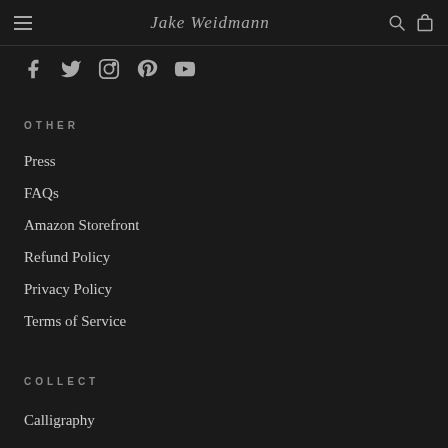Jake Weidmann
[Figure (infographic): Social media icons row: Facebook, Twitter, Instagram, Pinterest, YouTube]
OTHER
Press
FAQs
Amazon Storefront
Refund Policy
Privacy Policy
Terms of Service
COLLECT
Calligraphy